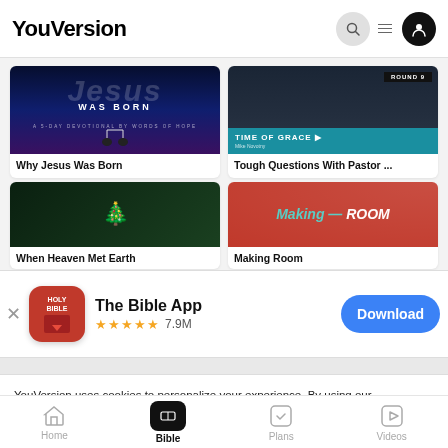YouVersion
[Figure (screenshot): YouVersion website screenshot showing Bible reading plans including 'Why Jesus Was Born' and 'Tough Questions With Pastor ...' cards, with Christmas-themed and Making Room cards below]
Why Jesus Was Born
Tough Questions With Pastor ...
When Heaven Met Earth
Making Room
[Figure (infographic): App install banner for The Bible App with red Holy Bible icon, 5 stars rating, 7.9M reviews, and a Download button]
The Bible App
★★★★★ 7.9M
Download
YouVersion uses cookies to personalize your experience. By using our website, you accept our use of cookies as described in our Privacy Policy.
Home  Bible  Plans  Videos